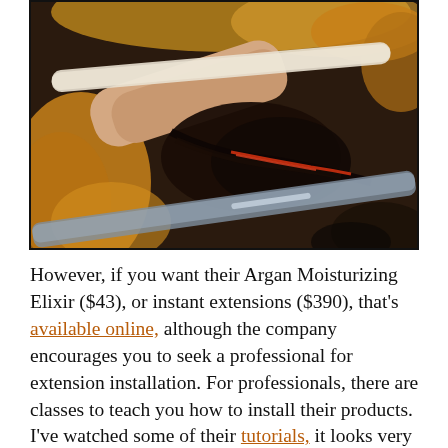[Figure (photo): Close-up photo of hair extensions being installed, showing a hand holding a section of dark hair with an orange strand, surrounded by golden/auburn hair extensions and a metal tool.]
However, if you want their Argan Moisturizing Elixir ($43), or instant extensions ($390), that's available online, although the company encourages you to seek a professional for extension installation. For professionals, there are classes to teach you how to install their products. I've watched some of their tutorials, it looks very involved. There are 5,000 hair